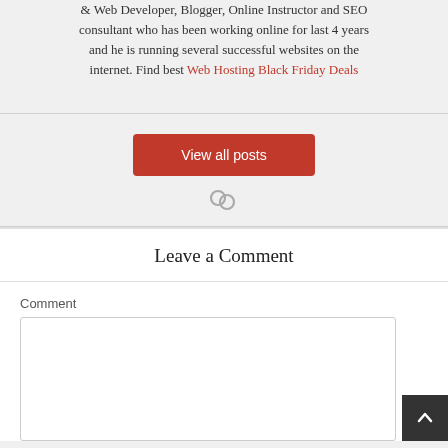& Web Developer, Blogger, Online Instructor and SEO consultant who has been working online for last 4 years and he is running several successful websites on the internet. Find best Web Hosting Black Friday Deals
View all posts
Leave a Comment
Comment